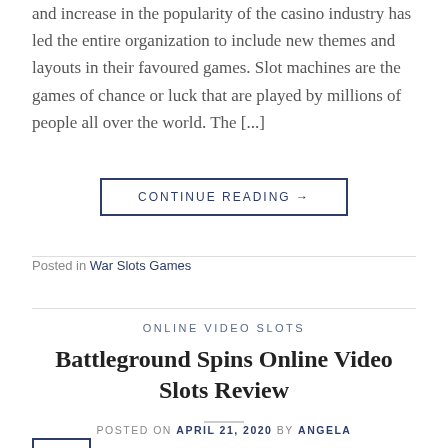and increase in the popularity of the casino industry has led the entire organization to include new themes and layouts in their favoured games. Slot machines are the games of chance or luck that are played by millions of people all over the world. The [...]
CONTINUE READING →
Posted in War Slots Games
ONLINE VIDEO SLOTS
Battleground Spins Online Video Slots Review
POSTED ON APRIL 21, 2020 BY ANGELA